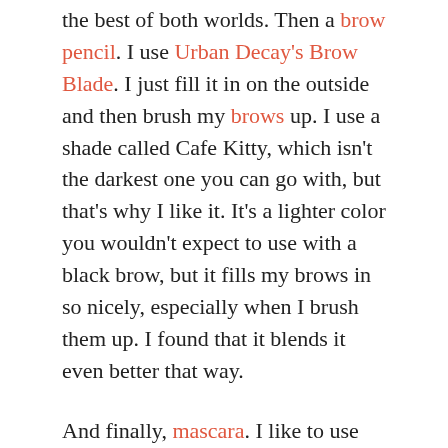the best of both worlds. Then a brow pencil. I use Urban Decay's Brow Blade. I just fill it in on the outside and then brush my brows up. I use a shade called Cafe Kitty, which isn't the darkest one you can go with, but that's why I like it. It's a lighter color you wouldn't expect to use with a black brow, but it fills my brows in so nicely, especially when I brush them up. I found that it blends it even better that way.
And finally, mascara. I like to use Ilia's mascara for daytime, because the brush is really thin and simple and looks really natural. But if I'm going for a nighttime look and want to go bolder, I'll use Urban Decay's Lash Freak because that's a really fun one.